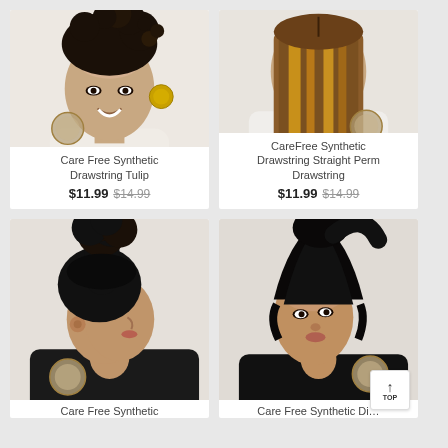[Figure (photo): Woman with curly updo hairstyle, Care Free Synthetic Drawstring Tulip product photo]
Care Free Synthetic Drawstring Tulip
$11.99  $14.99
[Figure (photo): Woman from behind showing straight brown hair, CareFree Synthetic Drawstring Straight Perm Drawstring product photo]
CareFree Synthetic Drawstring Straight Perm Drawstring
$11.99  $14.99
[Figure (photo): Woman with curly ponytail hairstyle, Care Free Synthetic product photo (partial)]
Care Free Synthetic
[Figure (photo): Woman with sleek straight ponytail, Care Free Synthetic Di... product photo (partial)]